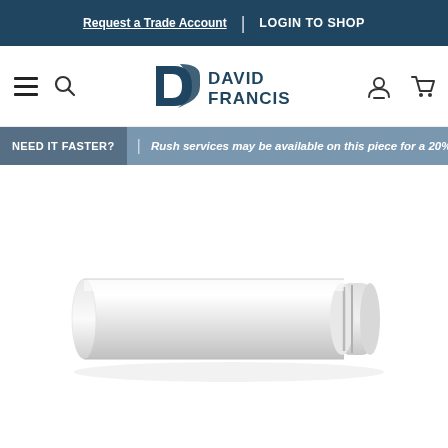Request a Trade Account | LOGIN TO SHOP
[Figure (logo): David Francis company logo with stylized D/F monogram and text DAVID FRANCIS]
NEED IT FASTER? | Rush services may be available on this piece for a 20%
[Figure (photo): White cylindrical tube/pipe component with a slightly wider flanged end, photographed against white background]